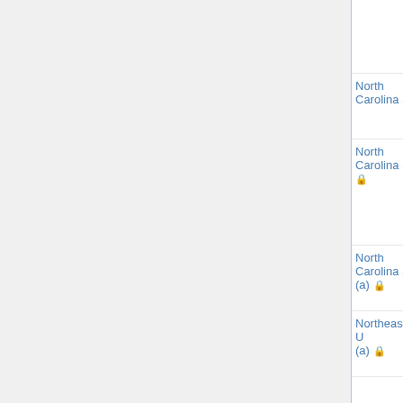| Institution | Type | Date | Names |
| --- | --- | --- | --- |
|  |  |  | Hottovy,
Qin, Hu
(Paul) S
Christina
Hamlet |
| North Carolina St | Data Science | 1/16/2016 | Patrick
Combet
Kelin Xi
Dane Ta |
| North Carolina St 🔒 | TT | 11/15/2015 | Tye Lid (bold)
Olivia
Dumitre
Erik Car
Vamsi
Pritham
Pingali |
| North Carolina St (a) 🔒 | TT | 11/15/2015 | Dominic
Zosso, |
T. Nguy (bold) |
| Northeastern U (a) 🔒 | TT | 11/15/2015 | Mboyo E
Emanue
Lazar, S
Ghosh |